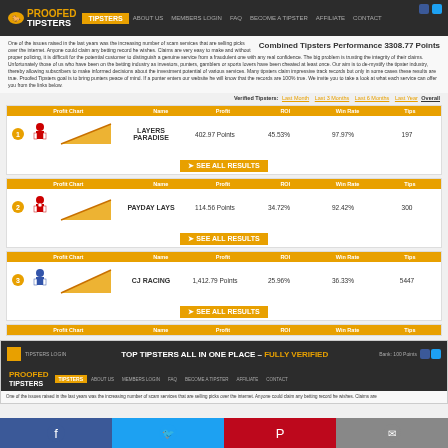[Figure (screenshot): Proofed Tipsters website screenshot showing top tipsters leaderboard with verified tipsters data including Layers Paradise, Payday Lays, and CJ Racing entries with profit charts, ROI, win rate and tips columns]
Social share bar with Facebook, Twitter, Pinterest, and Email icons